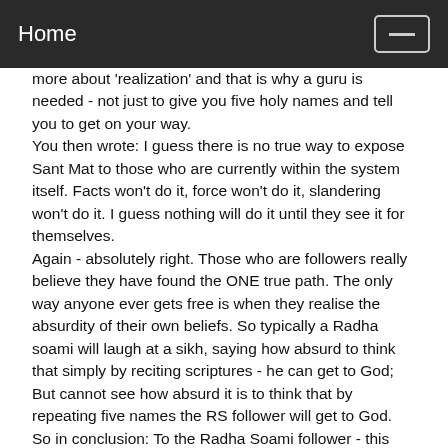Home
more about 'realization' and that is why a guru is needed - not just to give you five holy names and tell you to get on your way.
You then wrote: I guess there is no true way to expose Sant Mat to those who are currently within the system itself. Facts won't do it, force won't do it, slandering won't do it. I guess nothing will do it until they see it for themselves.
Again - absolutely right. Those who are followers really believe they have found the ONE true path. The only way anyone ever gets free is when they realise the absurdity of their own beliefs. So typically a Radha soami will laugh at a sikh, saying how absurd to think that simply by reciting scriptures - he can get to God; But cannot see how absurd it is to think that by repeating five names the RS follower will get to God.
So in conclusion: To the Radha Soami follower - this appears to be the truth. There really is a Sat Purush, and the Guru is the Beloved of Sat Purush. When I used to be a national speaker for Radha Soami, I used the satsangs